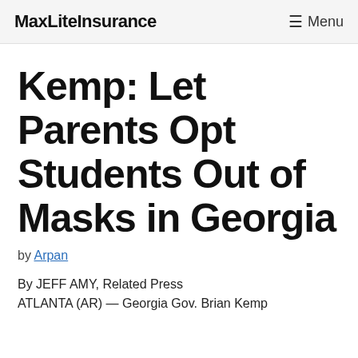MaxLiteInsurance    ☰ Menu
Kemp: Let Parents Opt Students Out of Masks in Georgia
by Arpan
By JEFF AMY, Related Press
ATLANTA (AR) — Georgia Gov. Brian Kemp